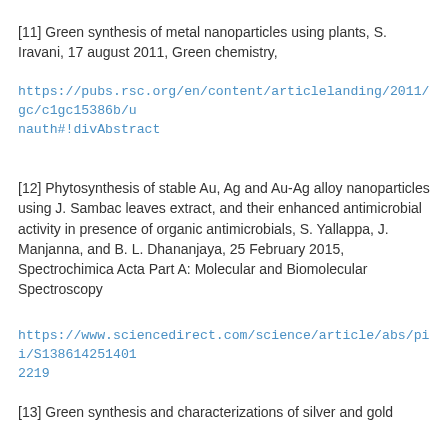[11] Green synthesis of metal nanoparticles using plants, S. Iravani, 17 august 2011, Green chemistry,
https://pubs.rsc.org/en/content/articlelanding/2011/gc/c1gc15386b/unauth#!divAbstract
[12] Phytosynthesis of stable Au, Ag and Au-Ag alloy nanoparticles using J. Sambac leaves extract, and their enhanced antimicrobial activity in presence of organic antimicrobials, S. Yallappa, J. Manjanna, and B. L. Dhananjaya, 25 February 2015, Spectrochimica Acta Part A: Molecular and Biomolecular Spectroscopy
https://www.sciencedirect.com/science/article/abs/pii/S1386142514012219
[13] Green synthesis and characterizations of silver and gold